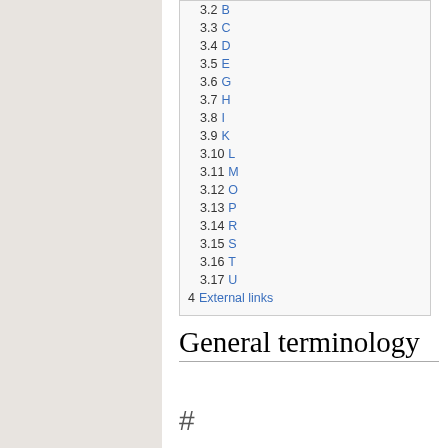3.2 B
3.3 C
3.4 D
3.5 E
3.6 G
3.7 H
3.8 I
3.9 K
3.10 L
3.11 M
3.12 O
3.13 P
3.14 R
3.15 S
3.16 T
3.17 U
4 External links
General terminology
#